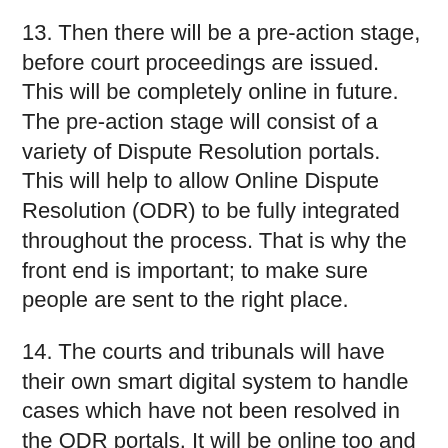13. Then there will be a pre-action stage, before court proceedings are issued. This will be completely online in future. The pre-action stage will consist of a variety of Dispute Resolution portals. This will help to allow Online Dispute Resolution (ODR) to be fully integrated throughout the process. That is why the front end is important; to make sure people are sent to the right place.
14. The courts and tribunals will have their own smart digital system to handle cases which have not been resolved in the ODR portals. It will be online too and will have integrated alternative forms of dispute resolution. Ultimately, if the case can't be resolved in any other way, it will be resolved